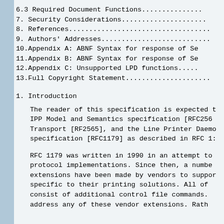6.3 Required Document Functions..............
7. Security Considerations..................
8. References...............................
9. Authors' Addresses.......................
10.Appendix A: ABNF Syntax for response of Se
11.Appendix B: ABNF Syntax for response of Se
12.Appendix C: Unsupported LPD functions.....
13.Full Copyright Statement...................
1. Introduction
The reader of this specification is expected t
IPP Model and Semantics specification [RFC256
Transport [RF2565], and the Line Printer Daem
specification [RFC1179] as described in RFC 1
RFC 1179 was written in 1990 in an attempt to
protocol implementations.  Since then, a numb
extensions have been made by vendors to suppo
specific to their printing solutions.  All of
consist of additional control file commands.
address any of these vendor extensions.  Rath